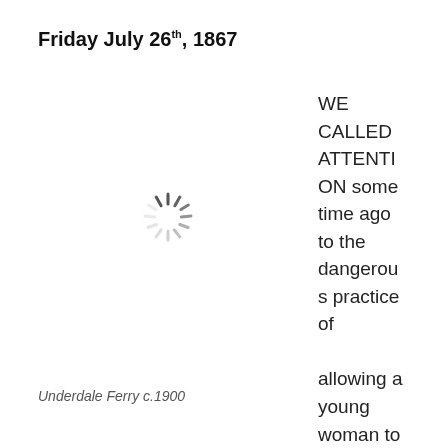Friday July 26th, 1867
[Figure (photo): Loading spinner indicating an image (Underdale Ferry c.1900) that has not yet loaded]
Underdale Ferry c.1900
WE CALLED ATTENTION some time ago to the dangerous practice of allowing a young woman to ferry the boat at the Upper